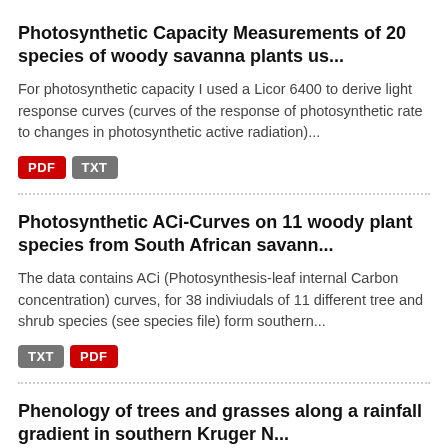Photosynthetic Capacity Measurements of 20 species of woody savanna plants us...
For photosynthetic capacity I used a Licor 6400 to derive light response curves (curves of the response of photosynthetic rate to changes in photosynthetic active radiation)...
Photosynthetic ACi-Curves on 11 woody plant species from South African savann...
The data contains ACi (Photosynthesis-leaf internal Carbon concentration) curves, for 38 indiviudals of 11 different tree and shrub species (see species file) form southern...
Phenology of trees and grasses along a rainfall gradient in southern Kruger N...